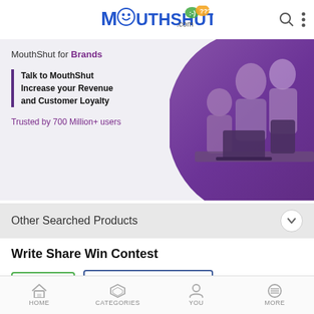[Figure (logo): MouthShut.com logo with smiley face icons]
[Figure (infographic): MouthShut for Brands banner with purple-tinted photo of business people and text: Talk to MouthShut Increase your Revenue and Customer Loyalty. Trusted by 700 Million+ users.]
Other Searched Products
Write Share Win Contest
Sign In
Login with facebook
HOME  CATEGORIES  YOU  MORE